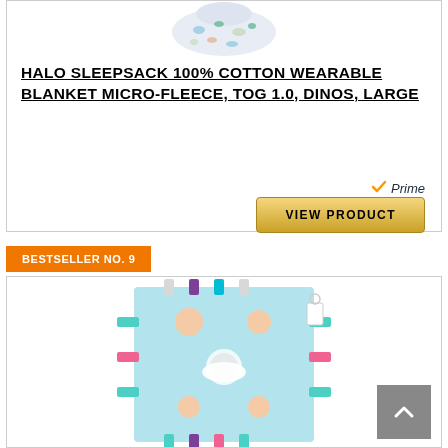[Figure (photo): Product photo of HALO SleepSack dinosaur print wearable blanket - partial view at top]
HALO SLEEPSACK 100% COTTON WEARABLE BLANKET MICRO-FLEECE, TOG 1.0, DINOS, LARGE
[Figure (logo): Amazon Prime checkmark logo with text 'Prime']
VIEW PRODUCT
BESTSELLER NO. 9
[Figure (photo): Product photo of a colorful taggies sensory blanket with mermaid/fantasy pattern in light blue, pink and purple tags around the edges]